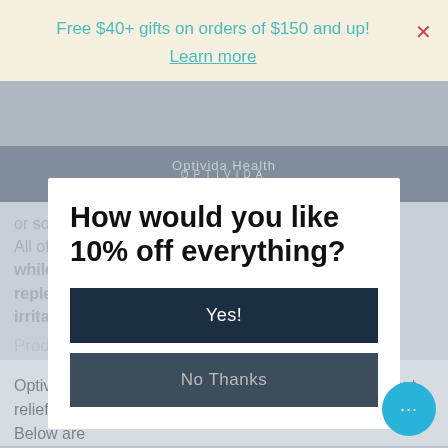Free $40+ gifts on orders of $150 and up!
Learn more
[Figure (screenshot): Optivida Health website navigation bar with logo and icons, partially visible behind modal overlay]
or solvents to maintain source integrity. All of this means you get symptom relief while your cells are being nourished and replenished: stopping the source of pain or irritation in its tracks.
Product Benefits
Optivida's Hemp Extract 200 Topical Gel provides instant relief at your source of pain, inflammation, or skin irritation. Below are
How would you like 10% off everything?
Yes!
No Thanks